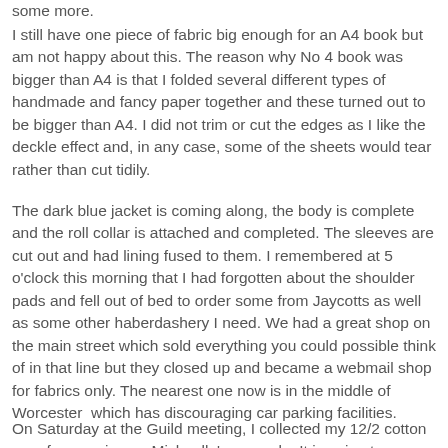some more.
I still have one piece of fabric big enough for an A4 book but am not happy about this. The reason why No 4 book was bigger than A4 is that I folded several different types of handmade and fancy paper together and these turned out to be bigger than A4. I did not trim or cut the edges as I like the deckle effect and, in any case, some of the sheets would tear rather than cut tidily.
The dark blue jacket is coming along, the body is complete and the roll collar is attached and completed. The sleeves are cut out and had lining fused to them. I remembered at 5 o'clock this morning that I had forgotten about the shoulder pads and fell out of bed to order some from Jaycotts as well as some other haberdashery I need. We had a great shop on the main street which sold everything you could possible think of in that line but they closed up and became a webmail shop for fabrics only. The nearest one now is in the middle of Worcester  which has discouraging car parking facilities.
On Saturday at the Guild meeting, I collected my 12/2 cotton yarn for weaving up Michaelle's example. It is going to